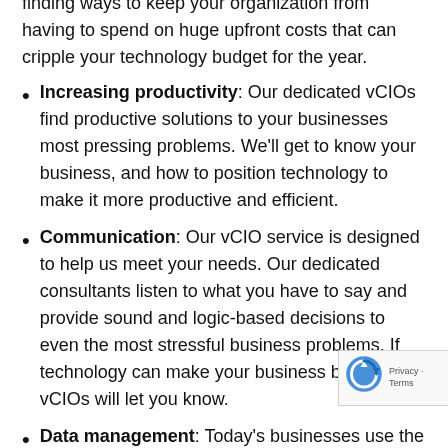finding ways to keep your organization from having to spend on huge upfront costs that can cripple your technology budget for the year.
Increasing productivity: Our dedicated vCIOs find productive solutions to your businesses most pressing problems. We'll get to know your business, and how to position technology to make it more productive and efficient.
Communication: Our vCIO service is designed to help us meet your needs. Our dedicated consultants listen to what you have to say and provide sound and logic-based decisions to even the most stressful business problems. If technology can make your business better, our vCIOs will let you know.
Data management: Today's businesses use the data they collect in new and exciting ways. Our vCIOs can help you leverage modern